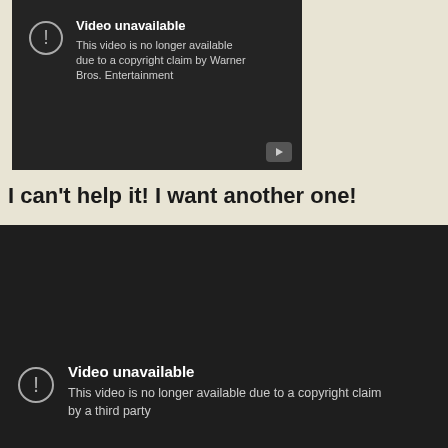[Figure (screenshot): YouTube video unavailable screen - black player with exclamation icon, title 'Video unavailable', message 'This video is no longer available due to a copyright claim by Warner Bros. Entertainment', and a YouTube play button in the bottom right corner.]
I can't help it! I want another one!
[Figure (screenshot): YouTube video unavailable screen - black player with exclamation icon, title 'Video unavailable', message 'This video is no longer available due to a copyright claim by a third party'.]